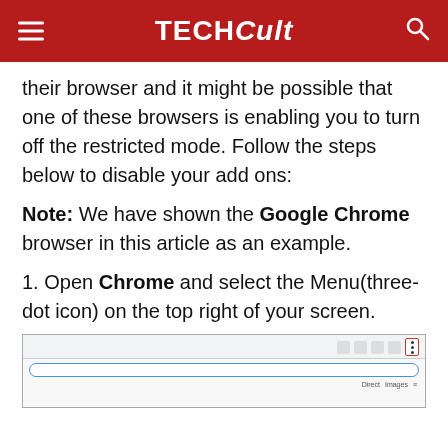TECHCult
their browser and it might be possible that one of these browsers is enabling you to turn off the restricted mode. Follow the steps below to disable your add ons:
Note: We have shown the Google Chrome browser in this article as an example.
1. Open Chrome and select the Menu(three-dot icon) on the top right of your screen.
[Figure (screenshot): Screenshot of Google Chrome browser toolbar showing the three-dot menu icon highlighted with a red border on the top right.]